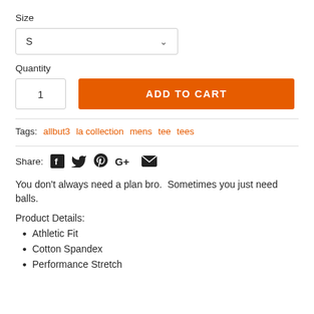Size
[Figure (screenshot): Dropdown select box showing 'S' with a chevron arrow]
Quantity
[Figure (screenshot): Quantity input box showing '1' and an orange 'ADD TO CART' button]
Tags: allbut3  la collection  mens  tee  tees
Share: [Facebook] [Twitter] [Pinterest] [Google+] [Email]
You don't always need a plan bro.  Sometimes you just need balls.
Product Details:
Athletic Fit
Cotton Spandex
Performance Stretch